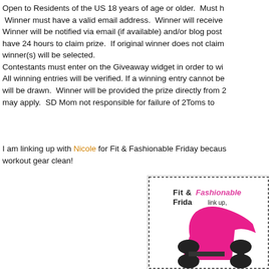Open to Residents of the US 18 years of age or older. Must have a valid email address. Winner will receive ... Winner will be notified via email (if available) and/or blog post. have 24 hours to claim prize. If original winner does not claim prize, winner(s) will be selected. Contestants must enter on the Giveaway widget in order to win. All winning entries will be verified. If a winning entry cannot be verified, another will be drawn. Winner will be provided the prize directly from 2Toms. Restrictions may apply. SD Mom not responsible for failure of 2Toms to...
I am linking up with Nicole for Fit & Fashionable Friday because... workout gear clean!
[Figure (illustration): Fit & Fashionable Friday link up badge with pink high heel shoe and black dumbbell silhouette on white background with decorative border]